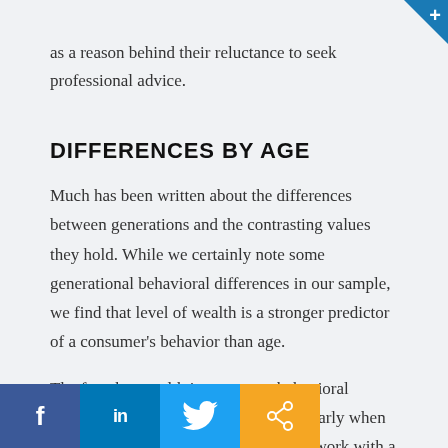as a reason behind their reluctance to seek professional advice.
DIFFERENCES BY AGE
Much has been written about the differences between generations and the contrasting values they hold. While we certainly note some generational behavioral differences in our sample, we find that level of wealth is a stronger predictor of a consumer's behavior than age.
The fact that wealth is a stronger behavioral indicator than age shows itself most clearly when looking at which consumers choose to work with a financial advisor. As shown in the graph, the likelihood of working with an advisor increases